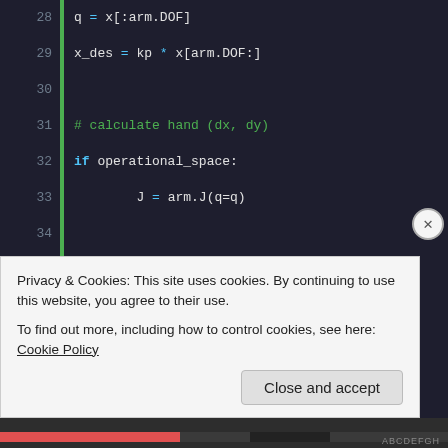[Figure (screenshot): Python code snippet showing robot arm control logic with line numbers 28-44, dark theme editor. Lines include variable assignments for q, x_des, conditional blocks for operational_space, inertia compensation, Jacobian and Mx calculations, and np.dot operations.]
Privacy & Cookies: This site uses cookies. By continuing to use this website, you agree to their use.
To find out more, including how to control cookies, see here: Cookie Policy
Close and accept